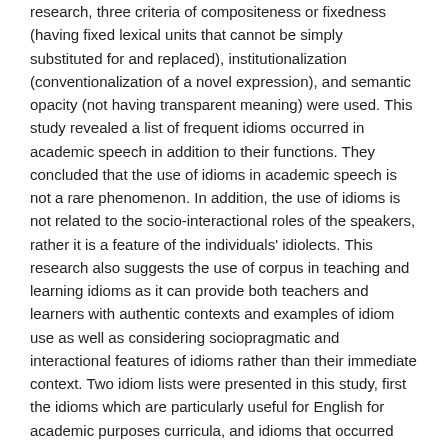research, three criteria of compositeness or fixedness (having fixed lexical units that cannot be simply substituted for and replaced), institutionalization (conventionalization of a novel expression), and semantic opacity (not having transparent meaning) were used. This study revealed a list of frequent idioms occurred in academic speech in addition to their functions. They concluded that the use of idioms in academic speech is not a rare phenomenon. In addition, the use of idioms is not related to the socio-interactional roles of the speakers, rather it is a feature of the individuals' idiolects. This research also suggests the use of corpus in teaching and learning idioms as it can provide both teachers and learners with authentic contexts and examples of idiom use as well as considering sociopragmatic and interactional features of idioms rather than their immediate context. Two idiom lists were presented in this study, first the idioms which are particularly useful for English for academic purposes curricula, and idioms that occurred four or more times in the Michigan Corpus of Academic Spoken English (MICASE).
Furthermore, Grant (2007) assessed frequent spoken formulaic idioms in a study by ESL/EFL teachers